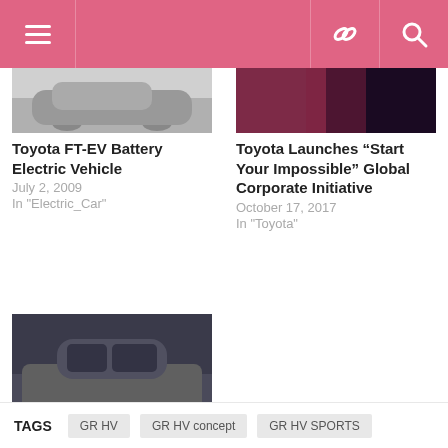Navigation bar with menu, link, and search icons
[Figure (photo): Cropped photo of Toyota FT-EV electric vehicle, front/side view, light background]
Toyota FT-EV Battery Electric Vehicle
July 2, 2009
In "Electric_Car"
[Figure (photo): Dark-toned promotional image for Toyota 'Start Your Impossible' campaign]
Toyota Launches “Start Your Impossible” Global Corporate Initiative
October 17, 2017
In "Toyota"
[Figure (photo): Toyota small hatchback/city car (iQ or similar), dark grey, side view in front of dark blue background]
Toyota to launch sedan from small car platform
July 3, 2009
In "Toyota"
TAGS  GR HV  GR HV concept  GR HV SPORTS